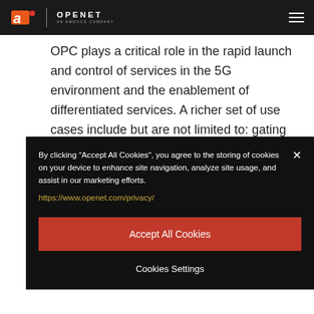amdocs | OPENET An Amdocs Company
OPC plays a critical role in the rapid launch and control of services in the 5G environment and the enablement of differentiated services. A richer set of use cases include but are not limited to: gating controls, QoS, usage...
By clicking "Accept All Cookies", you agree to the storing of cookies on your device to enhance site navigation, analyze site usage, and assist in our marketing efforts.

https://www.openet.com/privacy/

Accept All Cookies

Cookies Settings